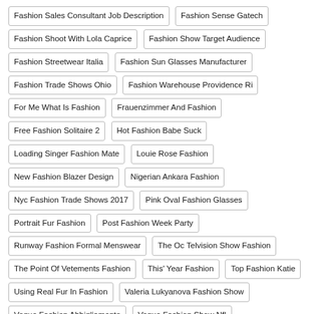Fashion Sales Consultant Job Description
Fashion Sense Gatech
Fashion Shoot With Lola Caprice
Fashion Show Target Audience
Fashion Streetwear Italia
Fashion Sun Glasses Manufacturer
Fashion Trade Shows Ohio
Fashion Warehouse Providence Ri
For Me What Is Fashion
Frauenzimmer And Fashion
Free Fashion Solitaire 2
Hot Fashion Babe Suck
Loading Singer Fashion Mate
Louie Rose Fashion
New Fashion Blazer Design
Nigerian Ankara Fashion
Nyc Fashion Trade Shows 2017
Pink Oval Fashion Glasses
Portrait Fur Fashion
Post Fashion Week Party
Runway Fashion Formal Menswear
The Oc Telvision Show Fashion
The Point Of Vetements Fashion
This' Year Fashion
Top Fashion Katie
Using Real Fur In Fashion
Valeria Lukyanova Fashion Show
Vogue Fashion Abbigliamento
Vogue Fashion Show Nfl
What Is Italian Fashion Design
Womens Right Fashion Craze
Yoga Fashion Winter
Previous
J.Crew's Summer Dresses and Tops Are an Extra 50% Off
Next
Dunnes Stores fans say they're 'on fire' as summer outfits hit sh
MORE STORIES